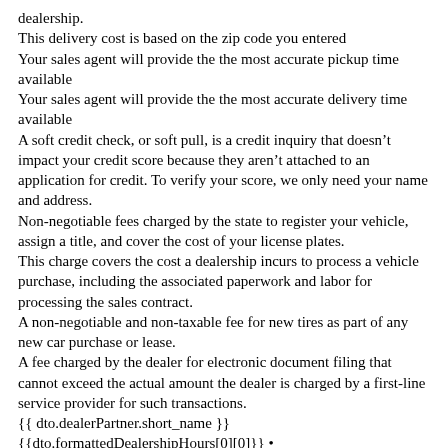dealership.
This delivery cost is based on the zip code you entered
Your sales agent will provide the the most accurate pickup time available
Your sales agent will provide the the most accurate delivery time available
A soft credit check, or soft pull, is a credit inquiry that doesn’t impact your credit score because they aren’t attached to an application for credit. To verify your score, we only need your name and address.
Non-negotiable fees charged by the state to register your vehicle, assign a title, and cover the cost of your license plates.
This charge covers the cost a dealership incurs to process a vehicle purchase, including the associated paperwork and labor for processing the sales contract.
A non-negotiable and non-taxable fee for new tires as part of any new car purchase or lease.
A fee charged by the dealer for electronic document filing that cannot exceed the actual amount the dealer is charged by a first-line service provider for such transactions.
{{ dto.dealerPartner.short_name }}
{{dto.formattedDealershipHours[0][0]}} •
{{dto.formattedDealershipHours[0][1]}}